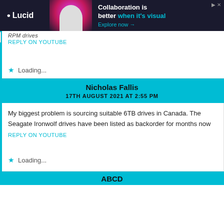[Figure (screenshot): Lucid advertisement banner: dark background with logo, person image, text 'Collaboration is better when it's visual. Explore now →']
RPM drives
REPLY ON YOUTUBE
Loading...
Nicholas Fallis
17TH AUGUST 2021 AT 2:55 PM
My biggest problem is sourcing suitable 6TB drives in Canada. The Seagate Ironwolf drives have been listed as backorder for months now
REPLY ON YOUTUBE
Loading...
ABCD